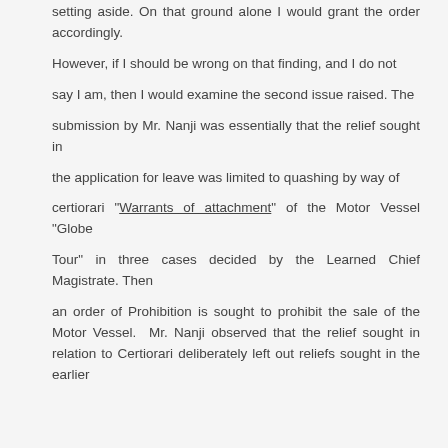setting aside. On that ground alone I would grant the order accordingly.
However, if I should be wrong on that finding, and I do not
say I am, then I would examine the second issue raised. The
submission by Mr. Nanji was essentially that the relief sought in
the application for leave was limited to quashing by way of
certiorari "Warrants of attachment" of the Motor Vessel "Globe
Tour" in three cases decided by the Learned Chief Magistrate. Then
an order of Prohibition is sought to prohibit the sale of the Motor Vessel. Mr. Nanji observed that the relief sought in relation to Certiorari deliberately left out reliefs sought in the earlier